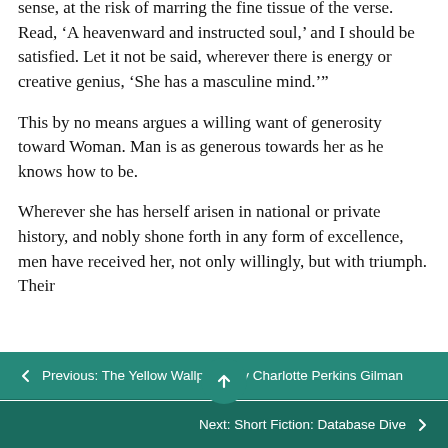sense, at the risk of marring the fine tissue of the verse. Read, ‘A heavenward and instructed soul,’ and I should be satisfied. Let it not be said, wherever there is energy or creative genius, ‘She has a masculine mind.’”
This by no means argues a willing want of generosity toward Woman. Man is as generous towards her as he knows how to be.
Wherever she has herself arisen in national or private history, and nobly shone forth in any form of excellence, men have received her, not only willingly, but with triumph. Their
← Previous: The Yellow Wallpaper by Charlotte Perkins Gilman
Next: Short Fiction: Database Dive →